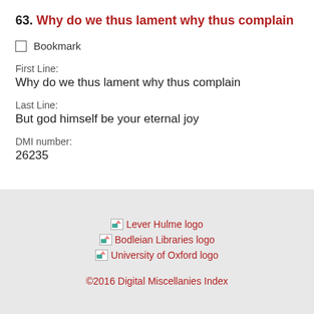63. Why do we thus lament why thus complain
Bookmark
First Line:
Why do we thus lament why thus complain
Last Line:
But god himself be your eternal joy
DMI number:
26235
[Figure (logo): Lever Hulme logo placeholder]
[Figure (logo): Bodleian Libraries logo placeholder]
[Figure (logo): University of Oxford logo placeholder]
©2016 Digital Miscellanies Index